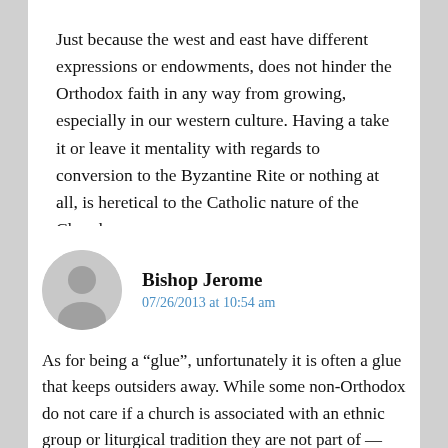Just because the west and east have different expressions or endowments, does not hinder the Orthodox faith in any way from growing, especially in our western culture. Having a take it or leave it mentality with regards to conversion to the Byzantine Rite or nothing at all, is heretical to the Catholic nature of the Church.
Reply
Bishop Jerome
07/26/2013 at 10:54 am
As for being a “glue”, unfortunately it is often a glue that keeps outsiders away. While some non-Orthodox do not care if a church is associated with an ethnic group or liturgical tradition they are not part of — “American” neighbors who live near our wonderful Russian parishes can be aware of the church all thei